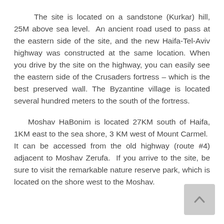The site is located on a sandstone (Kurkar) hill, 25M above sea level. An ancient road used to pass at the eastern side of the site, and the new Haifa-Tel-Aviv highway was constructed at the same location. When you drive by the site on the highway, you can easily see the eastern side of the Crusaders fortress – which is the best preserved wall. The Byzantine village is located several hundred meters to the south of the fortress.
Moshav HaBonim is located 27KM south of Haifa, 1KM east to the sea shore, 3 KM west of Mount Carmel. It can be accessed from the old highway (route #4) adjacent to Moshav Zerufa. If you arrive to the site, be sure to visit the remarkable nature reserve park, which is located on the shore west to the Moshav.